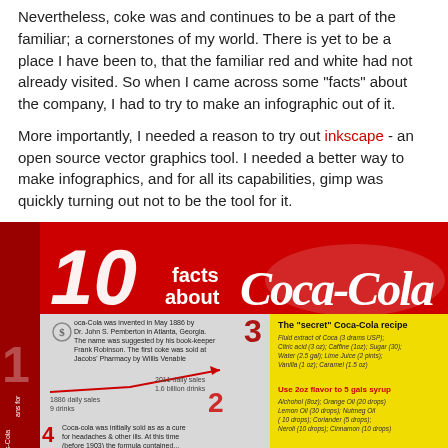Nevertheless, coke was and continues to be a part of the familiar; a cornerstones of my world. There is yet to be a place I have been to, that the familiar red and white had not already visited. So when I came across some "facts" about the company, I had to try to make an infographic out of it.
More importantly, I needed a reason to try out inkscape - an open source vector graphics tool. I needed a better way to make infographics, and for all its capabilities, gimp was quickly turning out not to be the tool for it.
[Figure (infographic): Infographic titled '10 facts about Coca-Cola' on a red background. Shows facts including Coca-Cola invented in May 1886 by Dr. John S. Pemberton in Atlanta, Georgia; daily sales comparison 1886 (9 drinks) vs 2011 (1.6 billion drinks); the secret Coca-Cola recipe in a yellow box; and Coca-cola was initially sold as a cure for headaches & other ills.]